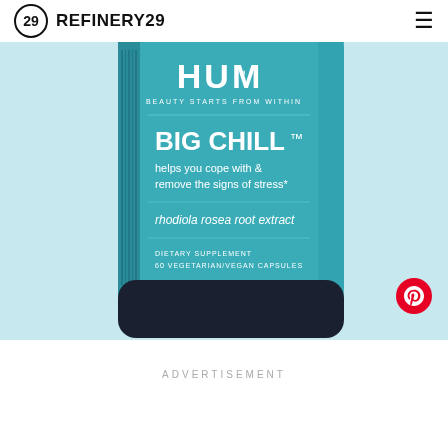REFINERY29
[Figure (photo): HUM Big Chill dietary supplement bottle — teal/blue bottle with white text reading 'HUM', 'BEAUTY STARTS FROM WITHIN', 'BIG CHILL™', 'helps you cope with & remove the signs of stress*', 'rhodiola rosea root extract', 'DIETARY SUPPLEMENT 60 VEGETARIAN/VEGAN CAPSULES'. Dark navy cap. Light blue background. Partial label visible on right side.]
ADVERTISEMENT